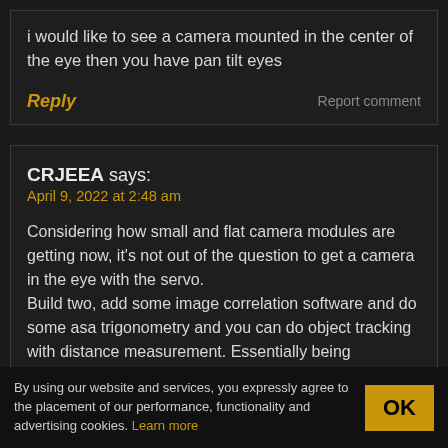i would like to see a camera mounted in the center of the eye then you have pan tilt eyes
Reply   Report comment
CRJEEA says:
April 9, 2022 at 2:48 am
Considering how small and flat camera modules are getting now, it’s not out of the question to get a camera in the eye with the servo.
Build two, add some image correlation software and do some asa trigonometry and you can do object tracking with distance measurement. Essentially being
By using our website and services, you expressly agree to the placement of our performance, functionality and advertising cookies. Learn more